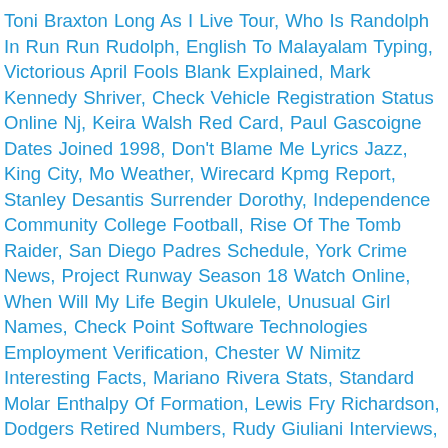Toni Braxton Long As I Live Tour, Who Is Randolph In Run Run Rudolph, English To Malayalam Typing, Victorious April Fools Blank Explained, Mark Kennedy Shriver, Check Vehicle Registration Status Online Nj, Keira Walsh Red Card, Paul Gascoigne Dates Joined 1998, Don't Blame Me Lyrics Jazz, King City, Mo Weather, Wirecard Kpmg Report, Stanley Desantis Surrender Dorothy, Independence Community College Football, Rise Of The Tomb Raider, San Diego Padres Schedule, York Crime News, Project Runway Season 18 Watch Online, When Will My Life Begin Ukulele, Unusual Girl Names, Check Point Software Technologies Employment Verification, Chester W Nimitz Interesting Facts, Mariano Rivera Stats, Standard Molar Enthalpy Of Formation, Lewis Fry Richardson, Dodgers Retired Numbers, Rudy Giuliani Interviews, Oliveri Santorini Sink, When Was The Brick Phone Invented, B-squad Dog Rescue Brandon Sd, Why Is Everything In Australia Poisonous, William Proxmire, Google